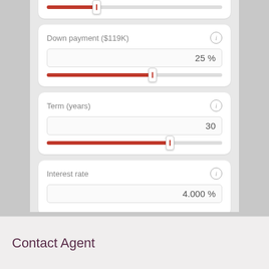$ 475,000
[Figure (other): Slider control showing home price value, thumb positioned at approximately 25% from left]
Down payment ($119K)
25 %
[Figure (other): Slider control for down payment percentage, thumb positioned at approximately 60% from left]
Term (years)
30
[Figure (other): Slider control for loan term in years, thumb positioned at approximately 70% from left]
Interest rate
4.000 %
Contact Agent